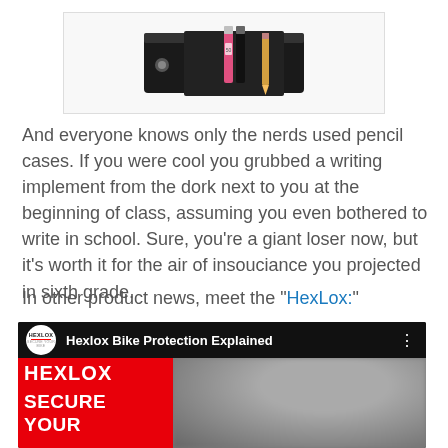[Figure (photo): Product image of a black pencil case with colorful pencils/markers inside, displayed in a white bordered box]
And everyone knows only the nerds used pencil cases.  If you were cool you grubbed a writing implement from the dork next to you at the beginning of class, assuming you even bothered to write in school.  Sure, you're a giant loser now, but it's worth it for the air of insouciance you projected in sixth grade.
In other product news, meet the "HexLox:"
[Figure (screenshot): YouTube video thumbnail for 'Hexlox Bike Protection Explained' showing the HexLox logo, red panel with HEXLOX / SECURE / YOUR text, and a blurred person in the right portion]